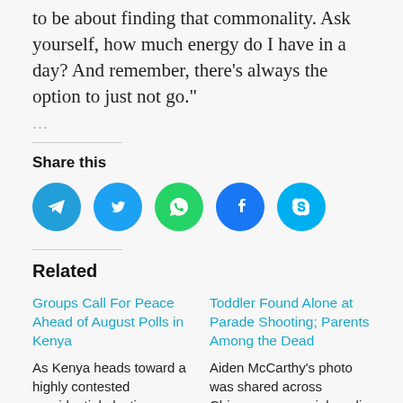to be about finding that commonality. Ask yourself, how much energy do I have in a day? And remember, there's always the option to just not go."
...
Share this
[Figure (infographic): Row of five social sharing icon circles: Telegram (blue), Twitter (blue), WhatsApp (green), Facebook (dark blue), Skype (light blue)]
Related
Groups Call For Peace Ahead of August Polls in Kenya
As Kenya heads toward a highly contested presidential election, many are worried about a repeat of deadly violence
Toddler Found Alone at Parade Shooting; Parents Among the Dead
Aiden McCarthy's photo was shared across Chicago-area social media groups in the hours after the July